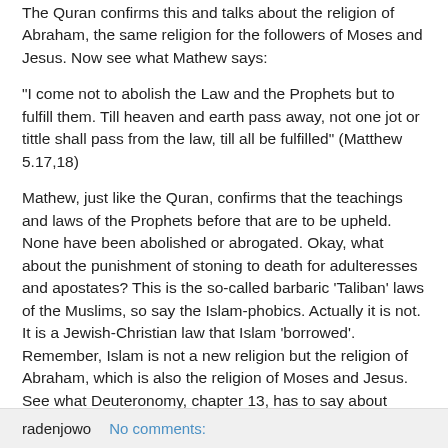The Quran confirms this and talks about the religion of Abraham, the same religion for the followers of Moses and Jesus. Now see what Mathew says:
"I come not to abolish the Law and the Prophets but to fulfill them. Till heaven and earth pass away, not one jot or tittle shall pass from the law, till all be fulfilled" (Matthew 5.17,18)
Mathew, just like the Quran, confirms that the teachings and laws of the Prophets before that are to be upheld. None have been abolished or abrogated. Okay, what about the punishment of stoning to death for adulteresses and apostates? This is the so-called barbaric 'Taliban' laws of the Muslims, so say the Islam-phobics. Actually it is not. It is a Jewish-Christian law that Islam 'borrowed'. Remember, Islam is not a new religion but the religion of Abraham, which is also the religion of Moses and Jesus. See what Deuteronomy, chapter 13, has to say about apostasy. |more...|
radenjowo   No comments: